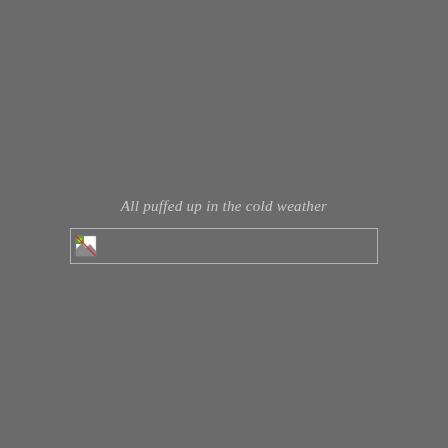All puffed up in the cold weather
[Figure (photo): Broken image placeholder box with a small broken image icon on the left side, within a rectangular border on a dark grey background]